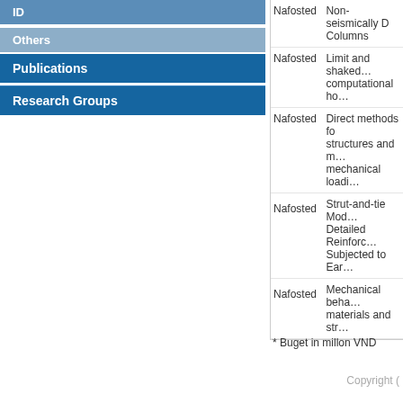ID
Others
Publications
Research Groups
| Funder | Title |
| --- | --- |
| Nafosted | Non-seismically D… Columns |
| Nafosted | Limit and shaked… computational ho… |
| Nafosted | Direct methods fo… structures and m… mechanical loadi… |
| Nafosted | Strut-and-tie Mod… Detailed Reinforc… Subjected to Ear… |
| Nafosted | Mechanical beha… materials and str… |
* Buget in millon VND
Copyright (